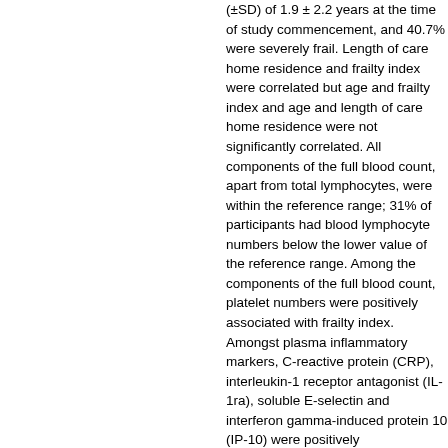(±SD) of 1.9 ± 2.2 years at the time of study commencement, and 40.7% were severely frail. Length of care home residence and frailty index were correlated but age and frailty index and age and length of care home residence were not significantly correlated. All components of the full blood count, apart from total lymphocytes, were within the reference range; 31% of participants had blood lymphocyte numbers below the lower value of the reference range. Among the components of the full blood count, platelet numbers were positively associated with frailty index. Amongst plasma inflammatory markers, C-reactive protein (CRP), interleukin-1 receptor antagonist (IL-1ra), soluble E-selectin and interferon gamma-induced protein 10 (IP-10) were positively